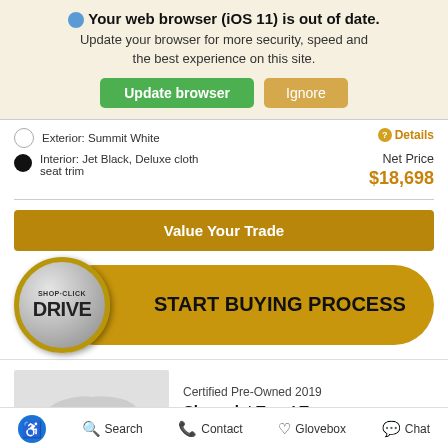Your web browser (iOS 11) is out of date. Update your browser for more security, speed and the best experience on this site. Update browser | Ignore
Exterior: Summit White
Interior: Jet Black, Deluxe cloth seat trim
Details
Net Price  $18,698
Value Your Trade
[Figure (screenshot): Shop·Click Drive - Start Buying Process button with metallic coin logo]
Certified Pre-Owned 2019
Chevrolet Trax LT
Search   Contact   Glovebox   Chat